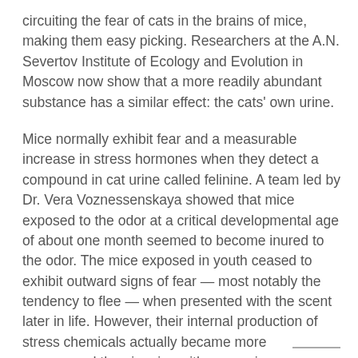circuiting the fear of cats in the brains of mice, making them easy picking. Researchers at the A.N. Severtov Institute of Ecology and Evolution in Moscow now show that a more readily abundant substance has a similar effect: the cats' own urine.
Mice normally exhibit fear and a measurable increase in stress hormones when they detect a compound in cat urine called felinine. A team led by Dr. Vera Voznessenskaya showed that mice exposed to the odor at a critical developmental age of about one month seemed to become inured to the odor. The mice exposed in youth ceased to exhibit outward signs of fear — most notably the tendency to flee — when presented with the scent later in life. However, their internal production of stress chemicals actually became more pronounced than in mice with no previous experience with the substance.